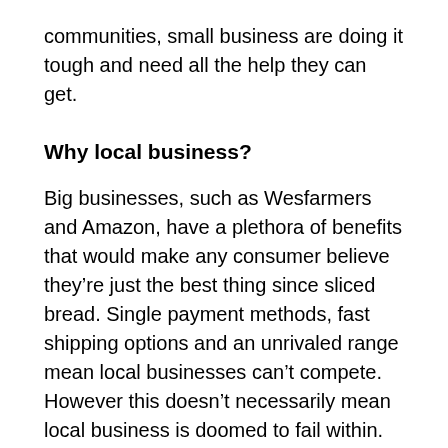communities, small business are doing it tough and need all the help they can get.
Why local business?
Big businesses, such as Wesfarmers and Amazon, have a plethora of benefits that would make any consumer believe they’re just the best thing since sliced bread. Single payment methods, fast shipping options and an unrivaled range mean local businesses can’t compete. However this doesn’t necessarily mean local business is doomed to fail within. Choosing to do your business with local businesses means you’re helping out local families and local communities.